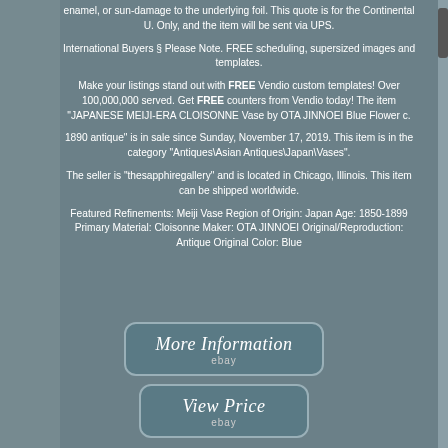enamel, or sun-damage to the underlying foil. This quote is for the Continental U. Only, and the item will be sent via UPS.
International Buyers § Please Note. FREE scheduling, supersized images and templates.
Make your listings stand out with FREE Vendio custom templates! Over 100,000,000 served. Get FREE counters from Vendio today! The item "JAPANESE MEIJI-ERA CLOISONNE Vase by OTA JINNOEI Blue Flower c.
1890 antique" is in sale since Sunday, November 17, 2019. This item is in the category "Antiques\Asian Antiques\Japan\Vases".
The seller is "thesapphiregallery" and is located in Chicago, Illinois. This item can be shipped worldwide.
Featured Refinements: Meiji Vase Region of Origin: Japan Age: 1850-1899 Primary Material: Cloisonne Maker: OTA JINNOEI Original/Reproduction: Antique Original Color: Blue
[Figure (screenshot): Button: More Information on eBay]
[Figure (screenshot): Button: View Price on eBay]